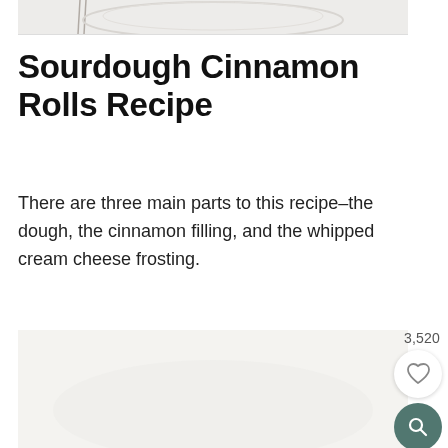[Figure (photo): Partial cropped photo of a plate with cinnamon rolls and a fork, white background, top portion visible only]
Sourdough Cinnamon Rolls Recipe
There are three main parts to this recipe–the dough, the cinnamon filling, and the whipped cream cheese frosting.
[Figure (photo): Bottom portion of a food photo, light background, partially visible cinnamon roll image with UI overlay elements: a save count of 3,520, a white circular heart/save button, and a teal circular search/zoom button]